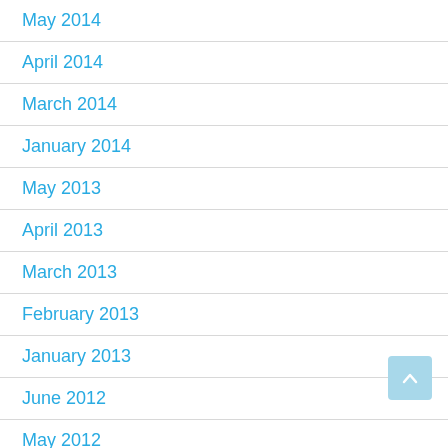May 2014
April 2014
March 2014
January 2014
May 2013
April 2013
March 2013
February 2013
January 2013
June 2012
May 2012
April 2012
March 2012